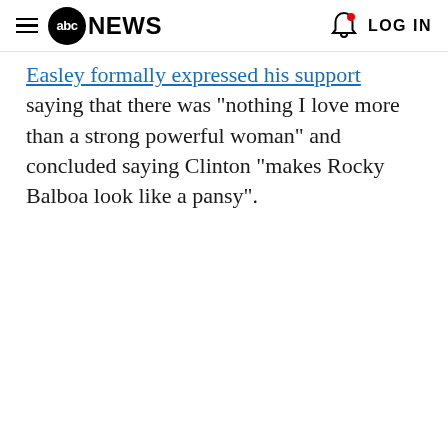abc NEWS  LOG IN
Easley formally expressed his support saying that there was "nothing I love more than a strong powerful woman" and concluded saying Clinton "makes Rocky Balboa look like a pansy".